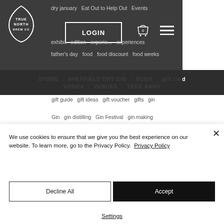[Figure (logo): True North Brew Co logo — teardrop/shield outline with text TRUE NORTH BREW CO inside]
dry january   Eat Out to Help Out   Events
exhibit   edition   experience   experiences
father's day   food   food discount   food weeks
STORE  |  SHEFFIELD DRY GIN  |  BEER  |  gift card
VODKA  |  VENUES  |  TAKE AWAY
gift guide   gift ideas   gift voucher   gifts   gin
Gin   gin distilling   Gin Festival   gin making
gin tasting session
Follow Us
We use cookies to ensure that we give you the best experience on our website. To learn more, go to the Privacy Policy.  Privacy Policy
Decline All
Accept
Settings